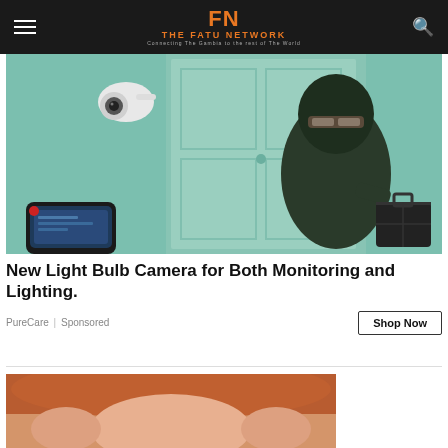FN THE FATU NETWORK — Connecting The Gambia to the rest of The World
[Figure (photo): Security camera advertisement image showing a masked burglar in dark clothing near a door, with a dome security camera mounted on the wall and a smartphone in the foreground.]
New Light Bulb Camera for Both Monitoring and Lighting.
PureCare | Sponsored
[Figure (photo): Partial image of a woman with red hair, cropped showing face and hands.]